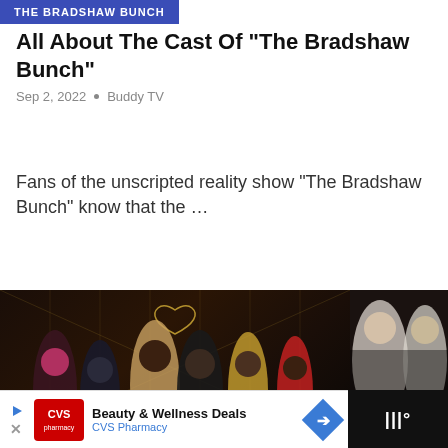THE BRADSHAW BUNCH
All About The Cast Of “The Bradshaw Bunch”
Sep 2, 2022 • Buddy TV
Fans of the unscripted reality show “The Bradshaw Bunch” know that the …
[Figure (photo): Group photo of cast members of The Bradshaw Bunch TV show against a gold art-deco geometric background with a heart motif]
WHAT’S NEXT → Everything You Need to...
[Figure (logo): Mystery at Blindfold Ranch circular badge logo]
Beauty & Wellness Deals
CVS Pharmacy